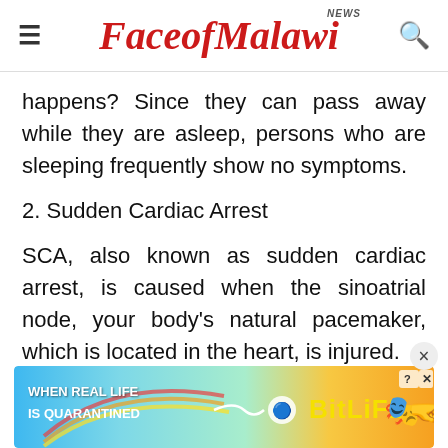FaceofMalawi NEWS
happens? Since they can pass away while they are asleep, persons who are sleeping frequently show no symptoms.
2. Sudden Cardiac Arrest
SCA, also known as sudden cardiac arrest, is caused when the sinoatrial node, your body's natural pacemaker, which is located in the heart, is injured.
[Figure (other): Advertisement banner for BitLife game featuring colorful rainbow background with text 'WHEN REAL LIFE IS QUARANTINED' and BitLife logo with emoji characters]